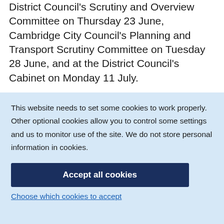District Council's Scrutiny and Overview Committee on Thursday 23 June, Cambridge City Council's Planning and Transport Scrutiny Committee on Tuesday 28 June, and at the District Council's Cabinet on Monday 11 July.
This website needs to set some cookies to work properly. Other optional cookies allow you to control some settings and us to monitor use of the site. We do not store personal information in cookies.
Accept all cookies
Choose which cookies to accept